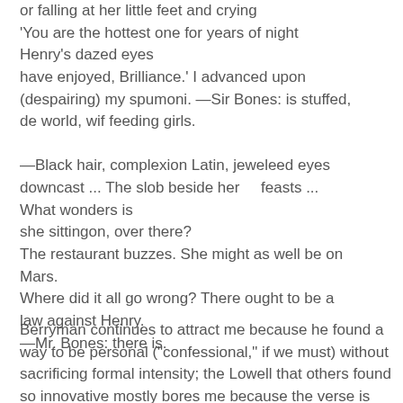or falling at her little feet and crying
'You are the hottest one for years of night
Henry's dazed eyes
have enjoyed, Brilliance.' I advanced upon
(despairing) my spumoni. —Sir Bones: is stuffed,
de world, wif feeding girls.

—Black hair, complexion Latin, jeweleed eyes
downcast ... The slob beside her    feasts ...
What wonders is
she sittingon, over there?
The restaurant buzzes. She might as well be on
Mars.
Where did it all go wrong? There ought to be a
law against Henry.
—Mr. Bones: there is.
Berryman continues to attract me because he found a way to be personal ("confessional," if we must) without sacrificing formal intensity; the Lowell that others found so innovative mostly bores me because the verse is slack. I much prefer the rocky, Anglo-Saxon rhythms of "The Quaker Graveyard